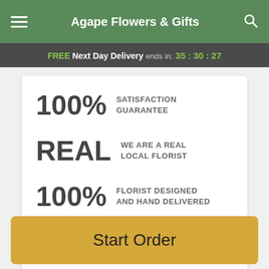Agape Flowers & Gifts
FREE Next Day Delivery ends in: 35 : 30 : 27
100% SATISFACTION GUARANTEE
REAL WE ARE A REAL LOCAL FLORIST
100% FLORIST DESIGNED AND HAND DELIVERED
Description
Start Order